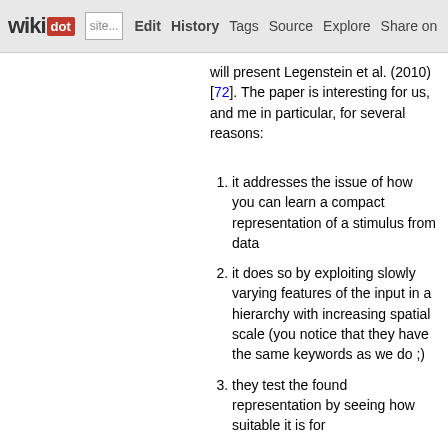wikidot | Edit | History | Tags | Source | Explore | Share on [twitter]
will present Legenstein et al. (2010) [72]. The paper is interesting for us, and me in particular, for several reasons:
it addresses the issue of how you can learn a compact representation of a stimulus from data
it does so by exploiting slowly varying features of the input in a hierarchy with increasing spatial scale (you notice that they have the same keywords as we do ;)
they test the found representation by seeing how suitable it is for